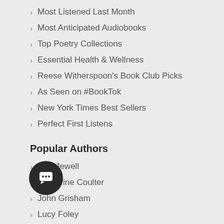Most Listened Last Month
Most Anticipated Audiobooks
Top Poetry Collections
Essential Health & Wellness
Reese Witherspoon's Book Club Picks
As Seen on #BookTok
New York Times Best Sellers
Perfect First Listens
Popular Authors
Lisa Jewell
Catherine Coulter
John Grisham
Lucy Foley
Colleen Hoover
Taylor Jenkins Reid